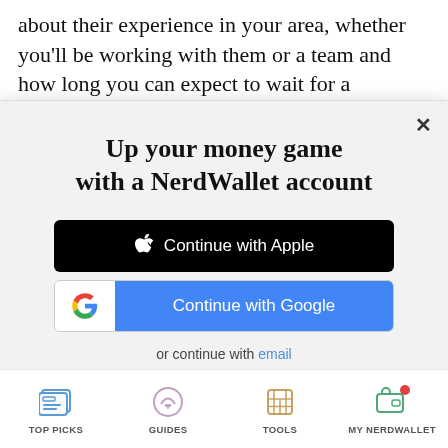about their experience in your area, whether you'll be working with them or a team and how long you can expect to wait for a response when you have
Up your money game with a NerdWallet account
Continue with Apple
Continue with Google
or continue with email
By signing up, I agree to NerdWallet's Terms of Service and Privacy Policy.
TOP PICKS   GUIDES   TOOLS   MY NERDWALLET